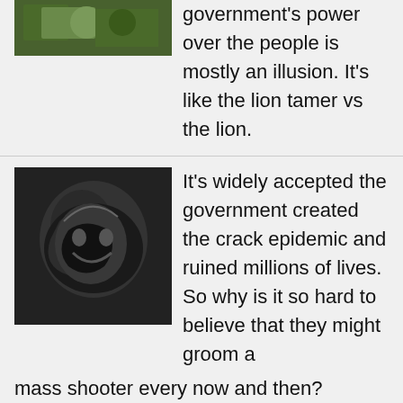[Figure (photo): Partial image of a crowd/protest scene at top]
government's power over the people is mostly an illusion. It's like the lion tamer vs the lion.
[Figure (photo): Black and white photo of a person crying or in distress]
It's widely accepted the government created the crack epidemic and ruined millions of lives. So why is it so hard to believe that they might groom a mass shooter every now and then?
[Figure (photo): Photo of an American flag with red and gold tones]
In most countries, state-run propaganda tries to convince you how great the country is. In America, the state-run media tries to convince you how evil the country is. Why is that?
[Figure (photo): Photo of Ron DeSantis speaking]
Anyone who thinks DeSantis has a chance in 2024 doesn't realize the gigantic smear-machine the